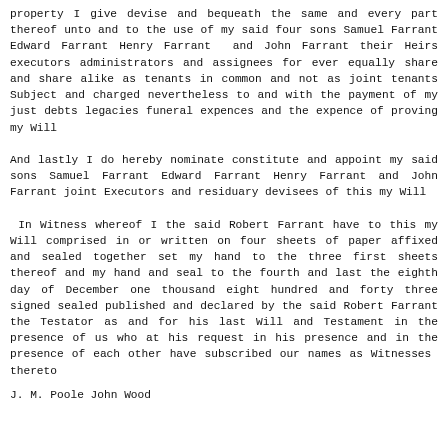property I give devise and bequeath the same and every part thereof unto and to the use of my said four sons Samuel Farrant Edward Farrant Henry Farrant  and John Farrant their Heirs executors administrators and assignees for ever equally share and share alike as tenants in common and not as joint tenants Subject and charged nevertheless to and with the payment of my just debts legacies funeral expences and the expence of proving my Will
And lastly I do hereby nominate constitute and appoint my said sons Samuel Farrant Edward Farrant Henry Farrant and John Farrant joint Executors and residuary devisees of this my Will
In Witness whereof I the said Robert Farrant have to this my Will comprised in or written on four sheets of paper affixed and sealed together set my hand to the three first sheets thereof and my hand and seal to the fourth and last the eighth day of December one thousand eight hundred and forty three signed sealed published and declared by the said Robert Farrant the Testator as and for his last Will and Testament in the presence of us who at his request in his presence and in the presence of each other have subscribed our names as Witnesses  thereto
J. M. Poole John Wood